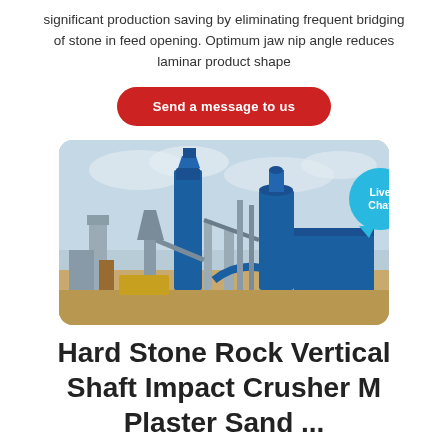significant production saving by eliminating frequent bridging of stone in feed opening. Optimum jaw nip angle reduces laminar product shape
Send a message to us
[Figure (photo): Industrial factory with large blue vertical shaft impact crusher equipment and processing towers against a cloudy sky]
Hard Stone Rock Vertical Shaft Impact Crusher M Plaster Sand ...